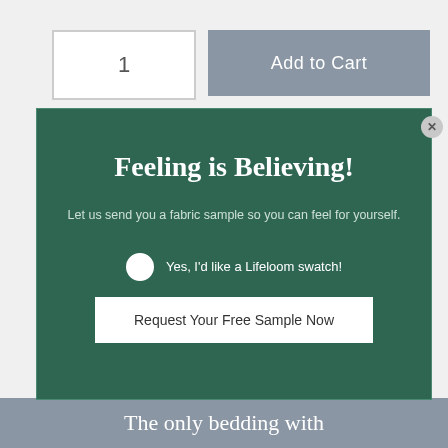1
Add to Cart
Feeling is Believing!
Let us send you a fabric sample so you can feel for yourself.
Yes, I'd like a Lifeloom swatch!
Request Your Free Sample Now
The only bedding with